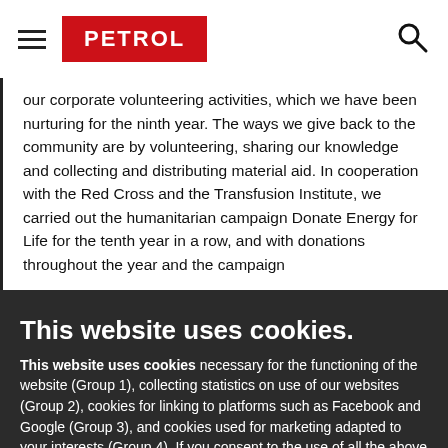PETROL
our corporate volunteering activities, which we have been nurturing for the ninth year. The ways we give back to the community are by volunteering, sharing our knowledge and collecting and distributing material aid. In cooperation with the Red Cross and the Transfusion Institute, we carried out the humanitarian campaign Donate Energy for Life for the tenth year in a row, and with donations throughout the year and the campaign
This website uses cookies.
This website uses cookies necessary for the functioning of the website (Group 1), collecting statistics on use of our websites (Group 2), cookies for linking to platforms such as Facebook and Google (Group 3), and cookies used for marketing adapted to your interests (Group 4). If you consent to the use of all the above types of cookies, click »I agree«, or edit your permission under »Cookie settings«. If you do not